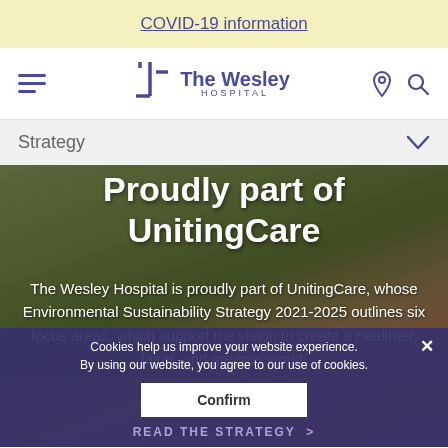COVID-19 information
[Figure (logo): The Wesley Hospital logo with stylized L-shaped mark and text 'The Wesley HOSPITAL']
Strategy
Proudly part of UnitingCare
The Wesley Hospital is proudly part of UnitingCare, whose Environmental Sustainability Strategy 2021-2025 outlines six focus areas, which support the vision to create a healthier, fairer, and greener world.
Cookies help us improve your website experience. By using our website, you agree to our use of cookies.
Confirm
READ THE STRATEGY >